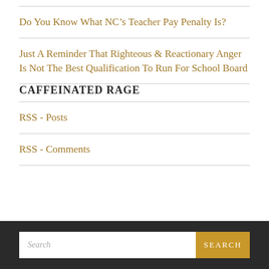Do You Know What NC’s Teacher Pay Penalty Is?
Just A Reminder That Righteous & Reactionary Anger Is Not The Best Qualification To Run For School Board
CAFFEINATED RAGE
RSS - Posts
RSS - Comments
Search  SEARCH